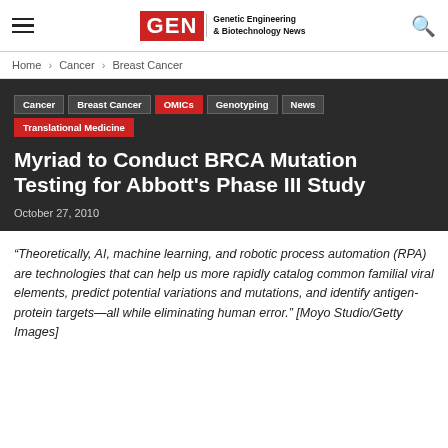GEN Genetic Engineering & Biotechnology News
Home › Cancer › Breast Cancer
Cancer
Breast Cancer
OMICs
Genotyping
News
Translational Medicine
Myriad to Conduct BRCA Mutation Testing for Abbott's Phase III Study
October 27, 2010
“Theoretically, AI, machine learning, and robotic process automation (RPA) are technologies that can help us more rapidly catalog common familial viral elements, predict potential variations and mutations, and identify antigen-protein targets—all while eliminating human error.” [Moyo Studio/Getty Images]